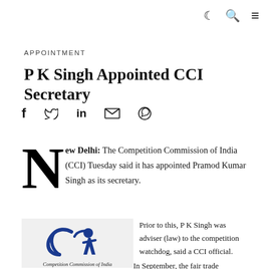☾ 🔍 ≡
APPOINTMENT
P K Singh Appointed CCI Secretary
Share icons: Facebook, Twitter, LinkedIn, Email, WhatsApp
New Delhi: The Competition Commission of India (CCI) Tuesday said it has appointed Pramod Kumar Singh as its secretary.
[Figure (logo): Competition Commission of India logo with blue stylized figure and swirl design]
Competition Commission of India
Prior to this, P K Singh was adviser (law) to the competition watchdog, said a CCI official.
In September, the fair trade